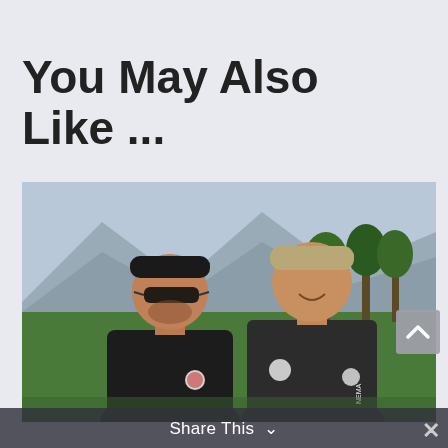You May Also Like ...
[Figure (photo): Two men standing outdoors on a golf course with mountains and trees in the background. The man on the left wears a black polo shirt and dark sunglasses with a dark cap; the man on the right wears a dark long-sleeve shirt with a logo on the sleeve and a tan/khaki cap. Both appear to be associated with a sporting organization.]
Share This ∨